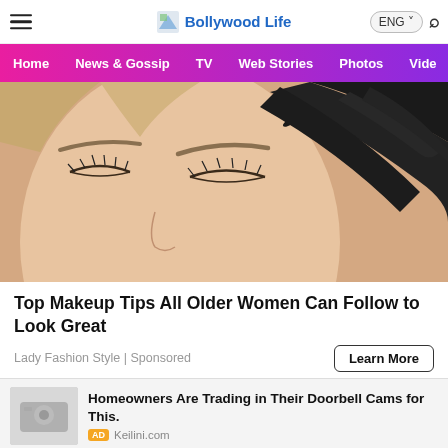Bollywood Life
[Figure (photo): Close-up of a woman's face with eyes closed, a gloved hand using a spoolie brush on her eyebrow]
Top Makeup Tips All Older Women Can Follow to Look Great
Lady Fashion Style | Sponsored
[Figure (photo): Ad thumbnail showing a doorbell camera device]